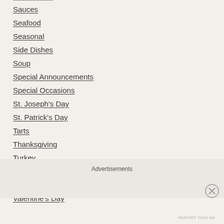Sauces
Seafood
Seasonal
Side Dishes
Soup
Special Announcements
Special Occasions
St. Joseph's Day
St. Patrick's Day
Tarts
Thanksgiving
Turkey
Uncategorized
Updates
Valentine's Day
Advertisements
REPORT THIS AD